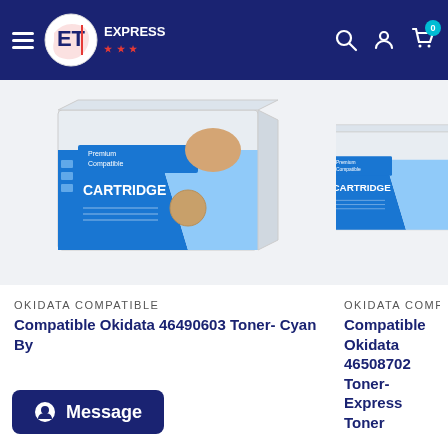ET EXPRESS - navigation bar with hamburger menu, logo, search, account, and cart icons
[Figure (photo): Premium Compatible Cartridge product box for Okidata 46490603 Cyan toner, white box with blue branding]
OKIDATA COMPATIBLE
Compatible Okidata 46490603 Toner- Cyan By
[Figure (screenshot): Message chat button: dark blue rounded rectangle with chat bubble icon and text 'Message']
[Figure (photo): Premium Compatible Cartridge product box for Okidata 46508702 toner, white box with blue branding, partially cropped]
OKIDATA COMPATIBLE
Compatible Okidata 46508702 Toner- Express Toner